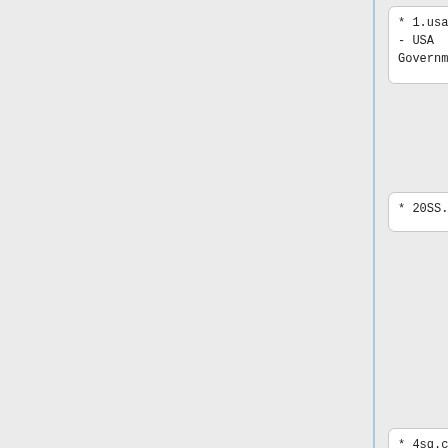* 1.usa.gov - USA Government
* 1.usa.gov - USA Government
* 20SS.NYC
* 20SS.NYC
* 360myte.ch - https://www.mytech360.com/
* 4sq.com - Foursquare
* 4sq.com - Foursquare
* abcn.ws - ABC News (examples: abcn.ws/1a0oijH ; abcn.ws/okiW
* abcn.ws - ABC News (examples: abcn.ws/1a0oijH ; abcn.ws/okiW